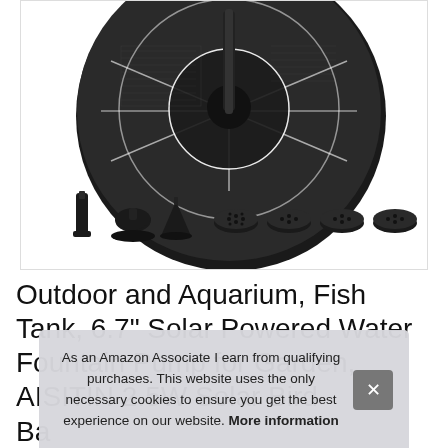[Figure (photo): Product photo of a circular solar water fountain pump (dark gray/black, round disc shape with solar panels on top, center pole/nozzle) shown from above, with various fountain head attachments displayed below it: a tube nozzle, a bell-shaped nozzle, a cone nozzle, and multiple disc-shaped spray heads with different hole patterns.]
Outdoor and Aquarium, Fish Tank, 6.7" Solar Powered Water Fountain Pump for Garden, AISITIN 2.5W Solar Bird Ba... Pu... Po...
As an Amazon Associate I earn from qualifying purchases. This website uses the only necessary cookies to ensure you get the best experience on our website. More information